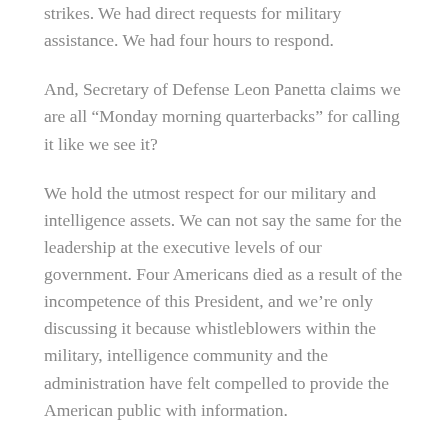strikes. We had direct requests for military assistance. We had four hours to respond.
And, Secretary of Defense Leon Panetta claims we are all “Monday morning quarterbacks” for calling it like we see it?
We hold the utmost respect for our military and intelligence assets. We can not say the same for the leadership at the executive levels of our government. Four Americans died as a result of the incompetence of this President, and we’re only discussing it because whistleblowers within the military, intelligence community and the administration have felt compelled to provide the American public with information.
Moreover, President Obama recently met with the